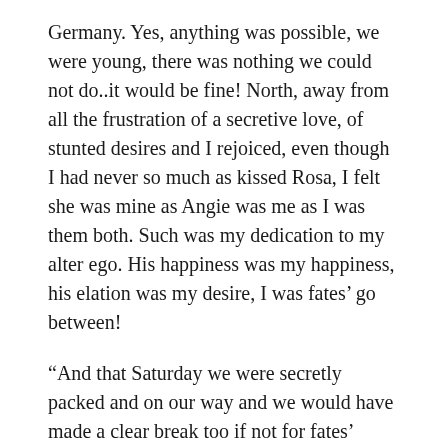Germany. Yes, anything was possible, we were young, there was nothing we could not do..it would be fine! North, away from all the frustration of a secretive love, of stunted desires and I rejoiced, even though I had never so much as kissed Rosa, I felt she was mine as Angie was me as I was them both. Such was my dedication to my alter ego. His happiness was my happiness, his elation was my desire, I was fates' go between!
“And that Saturday we were secretly packed and on our way and we would have made a clear break too if not for fates’ vindictiveness. It was a very wet day, so wet in fact that the soccer was